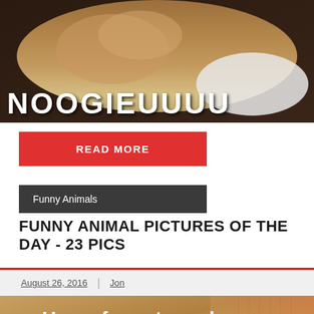[Figure (photo): Photo of a fluffy animal (dog or cat) on a dark leather couch with white fabric, with meme text 'NOOGIEUUUU' overlaid at bottom]
READ MORE
Funny Animals
FUNNY ANIMAL PICTURES OF THE DAY - 23 PICS
August 26, 2016 | Jon
[Figure (photo): Photo of an animal lying on a bed or surface with meme text 'Have fun at work...' overlaid]